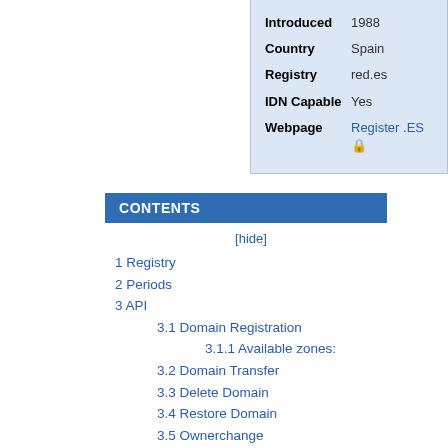| Field | Value |
| --- | --- |
| Introduced | 1988 |
| Country | Spain |
| Registry | red.es |
| IDN Capable | Yes |
| Webpage | Register .ES 🔒 |
CONTENTS
[hide]
1 Registry
2 Periods
3 API
3.1 Domain Registration
3.1.1 Available zones:
3.2 Domain Transfer
3.3 Delete Domain
3.4 Restore Domain
3.5 Ownerchange
4 TLD specific